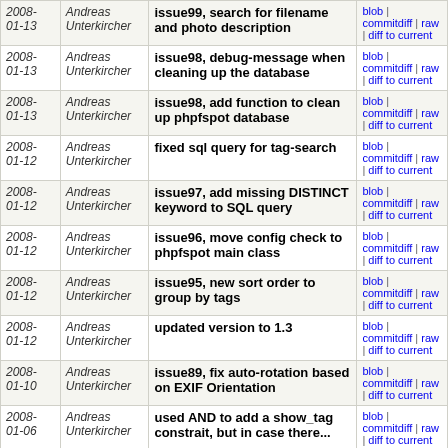| Date | Author | Commit message | Links |
| --- | --- | --- | --- |
| 2008-01-13 | Andreas Unterkircher | issue99, search for filename and photo description | blob | commitdiff | raw | diff to current |
| 2008-01-13 | Andreas Unterkircher | issue98, debug-message when cleaning up the database | blob | commitdiff | raw | diff to current |
| 2008-01-13 | Andreas Unterkircher | issue98, add function to clean up phpfspot database | blob | commitdiff | raw | diff to current |
| 2008-01-12 | Andreas Unterkircher | fixed sql query for tag-search | blob | commitdiff | raw | diff to current |
| 2008-01-12 | Andreas Unterkircher | issue97, add missing DISTINCT keyword to SQL query | blob | commitdiff | raw | diff to current |
| 2008-01-12 | Andreas Unterkircher | issue96, move config check to phpfspot main class | blob | commitdiff | raw | diff to current |
| 2008-01-12 | Andreas Unterkircher | issue95, new sort order to group by tags | blob | commitdiff | raw | diff to current |
| 2008-01-12 | Andreas Unterkircher | updated version to 1.3 | blob | commitdiff | raw | diff to current |
| 2008-01-10 | Andreas Unterkircher | issue89, fix auto-rotation based on EXIF Orientation | blob | commitdiff | raw | diff to current |
| 2008-01-06 | Andreas Unterkircher | used AND to add a show_tag constrait, but in case there... | blob | commitdiff | raw | diff to current |
| 2008-01-06 | Andreas Unterkircher | remove the rows x cols logic | blob | commitdiff | raw | diff to current |
| 2008-01-06 | Andreas Unterkircher | fixed height of thumbnail boxes | blob | commitdiff | raw | diff to current |
| 2008-... | Andreas | issue93, fill alt-attribute with | blob | |